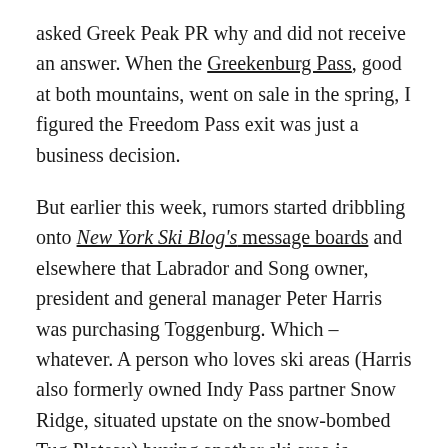asked Greek Peak PR why and did not receive an answer. When the Greekenburg Pass, good at both mountains, went on sale in the spring, I figured the Freedom Pass exit was just a business decision.
But earlier this week, rumors started dribbling onto New York Ski Blog's message boards and elsewhere that Labrador and Song owner, president and general manager Peter Harris was purchasing Toggenburg. Which – whatever. A person who loves ski areas (Harris also formerly owned Indy Pass partner Snow Ridge, situated upstate on the snow-bombed Tug Plateau) buying another ski area is typically a good thing. You get stability, expertise, and a sturdy constitution forged in the vagaries of Eastern winters. And a three-mountain pass lining up a triangle of options just south of Syracuse and right off Interstate 81 is a compelling